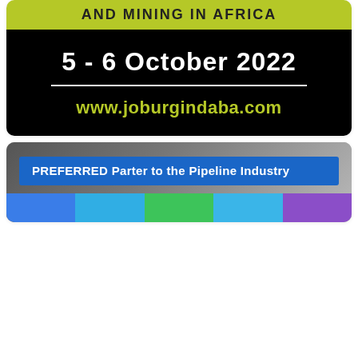[Figure (infographic): Event banner with green bar reading AND MINING IN AFRICA, black box with date 5 - 6 October 2022 and website www.joburgindaba.com]
[Figure (photo): Photo with blue banner overlay reading PREFERRED Parter to the Pipeline Industry, and a color bar at the bottom with blue, sky blue, green, light blue, and purple segments]